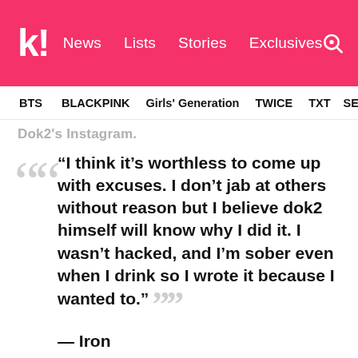koreaboo — News  Lists  Stories  Exclusives
BTS  BLACKPINK  Girls' Generation  TWICE  TXT  SEVE
Dok2's Instagram.
“I think it’s worthless to come up with excuses. I don’t jab at others without reason but I believe dok2 himself will know why I did it. I wasn’t hacked, and I’m sober even when I drink so I wrote it because I wanted to.” — Iron
He was then asked about the charges he faces for marijuana useage and his feelings about